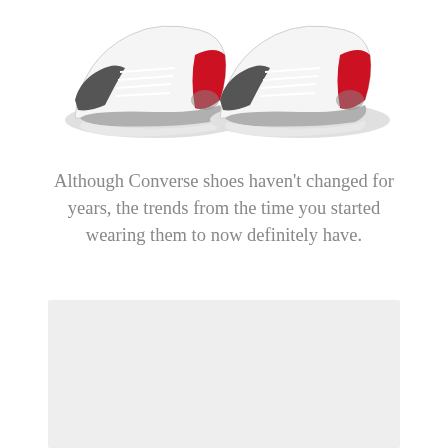[Figure (photo): Two Nike Air Max 90 sneakers shown from a top-front angle. The shoes are white with red heel accents, grey midsoles, and dark grey/black details near the toe area.]
Although Converse shoes haven't changed for years, the trends from the time you started wearing them to now definitely have.
[Figure (photo): A light grey rectangular image placeholder area occupying the lower portion of the page.]